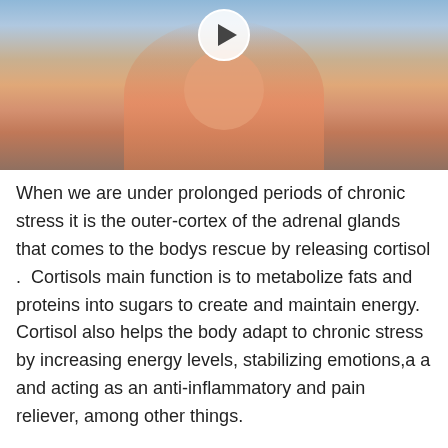[Figure (screenshot): Video thumbnail showing a person in a pink shirt seated, with a play button overlay at the top center. Background appears to be a room with decorative elements.]
When we are under prolonged periods of chronic stress it is the outer-cortex of the adrenal glands that comes to the bodys rescue by releasing cortisol .  Cortisols main function is to metabolize fats and proteins into sugars to create and maintain energy. Cortisol also helps the body adapt to chronic stress by increasing energy levels, stabilizing emotions,a a and acting as an anti-inflammatory and pain reliever, among other things.
As with everything, however, too much of a good thing has its downside. If cortisol levels become too high over a long period of time, it can cause a loss of bone density, muscle atrophy, thinning of the skin, kidney damage, blood sugar